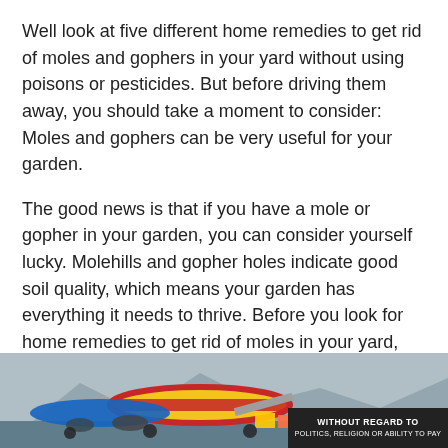Well look at five different home remedies to get rid of moles and gophers in your yard without using poisons or pesticides. But before driving them away, you should take a moment to consider: Moles and gophers can be very useful for your garden.
The good news is that if you have a mole or gopher in your garden, you can consider yourself lucky. Molehills and gopher holes indicate good soil quality, which means your garden has everything it needs to thrive. Before you look for home remedies to get rid of moles in your yard, consider the benefits of keeping them around:
They eat pests like insects, grubs and earthworms.
The strenuous digging uses up a lot of energy, so moles
[Figure (photo): Advertisement banner showing cargo planes being loaded at an airport, with a dark overlay on the right side containing white bold text 'WITHOUT REGARD TO' and smaller text below.]